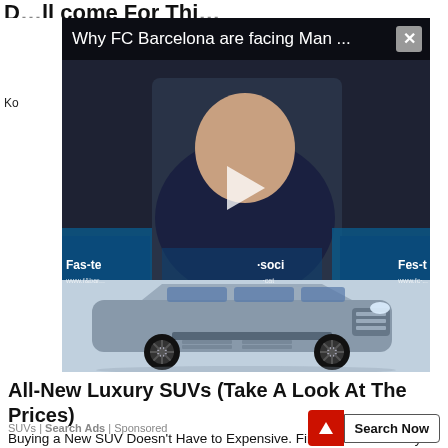D...  Come For Thi...
[Figure (screenshot): Video thumbnail showing FC Barcelona player with overlay title 'Why FC Barcelona are facing Man ...' and a close button (X). Video has a play button in the center. Sponsor logos 'Fes-te' visible at bottom of video.]
[Figure (photo): Advertisement photo of a luxury SUV model (Lincoln Navigator style) in silver/blue, side view showing open doors and steps, on a white background.]
All-New Luxury SUVs (Take A Look At The Prices)
Buying a New SUV Doesn't Have to Expensive. Find Out More Today.
SUVs | Search Ads | Sponsored
Search Now